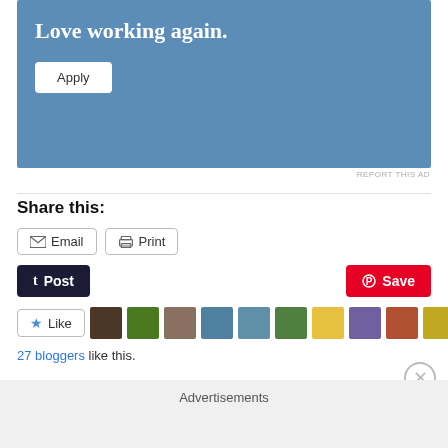[Figure (other): Advertisement banner with blue background, text 'Love working again.' and white Apply button]
REPORT THIS AD
Share this:
Email  Print
Post  Save
[Figure (other): Like button with star icon and row of blogger avatar thumbnails]
27 bloggers like this.
Advertisements